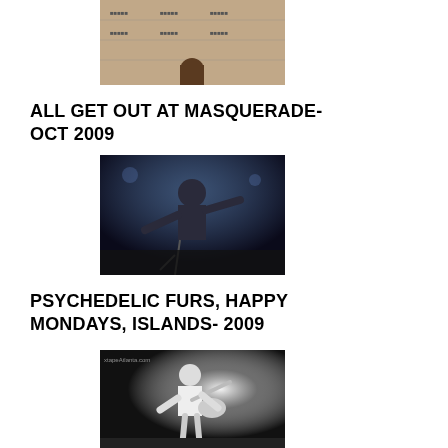[Figure (photo): Concert photo partially visible at top of page, person on stage with branded backdrop]
ALL GET OUT AT MASQUERADE- OCT 2009
[Figure (photo): Concert photo of performer on stage, dark energetic image, All Get Out at Masquerade Oct 2009]
PSYCHEDELIC FURS, HAPPY MONDAYS, ISLANDS- 2009
[Figure (photo): Black and white concert photo of guitarist on stage with spotlight, watermark xtapeAtlanta.com]